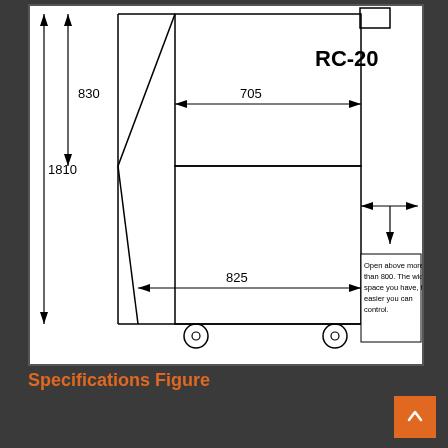[Figure (engineering-diagram): Technical specification drawing of RC-20 unit showing front/side dimensions: height 830mm (upper section), total height 1810mm, width 705mm (upper), 825mm (lower). Annotation: 'Open above more than 800. The wider space you have, the easier you can control.' Dimensions shown with arrows. Unit has wheels/casters at base.]
Specifications Figure